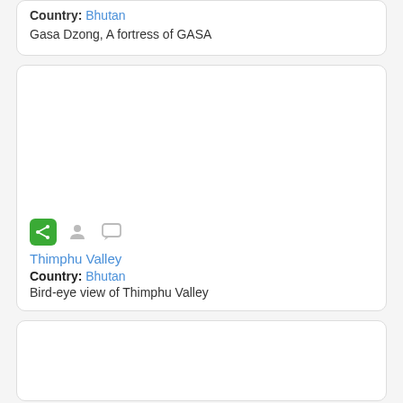Country: Bhutan
Gasa Dzong, A fortress of GASA
[Figure (screenshot): Card with blank image area, share/person/comment icons, title 'Thimphu Valley', Country: Bhutan, description 'Bird-eye view of Thimphu Valley']
Thimphu Valley
Country: Bhutan
Bird-eye view of Thimphu Valley
[Figure (photo): Card with blank image area at bottom of page]